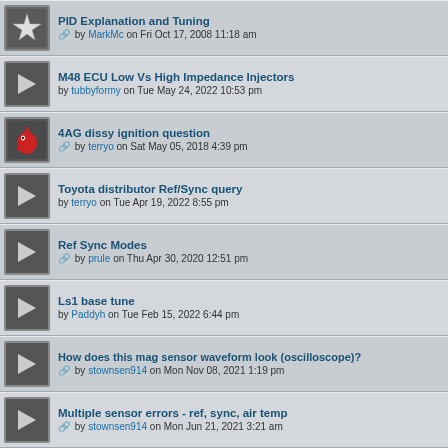PID Explanation and Tuning by MarkMc on Fri Oct 17, 2008 11:18 am
M48 ECU Low Vs High Impedance Injectors by tubbyformy on Tue May 24, 2022 10:53 pm
4AG dissy ignition question by terryo on Sat May 05, 2018 4:39 pm
Toyota distributor Ref/Sync query by terryo on Tue Apr 19, 2022 8:55 pm
Ref Sync Modes by prule on Thu Apr 30, 2020 12:51 pm
Ls1 base tune by Paddyh on Tue Feb 15, 2022 6:44 pm
How does this mag sensor waveform look (oscilloscope)? by stownsen914 on Mon Nov 08, 2021 1:19 pm
Multiple sensor errors - ref, sync, air temp by stownsen914 on Mon Jun 21, 2021 3:21 am
M4 Error Manifold Pressure by senordos on Mon Aug 09, 2021 10:54 pm
M4 Pro coil recommendations by Dezi-D on Fri Jul 09, 2021 11:32 pm
MoTec M4, AUX 3 as PWM fan output by LOLA-Christian on Sun May 09, 2021 10:50 pm